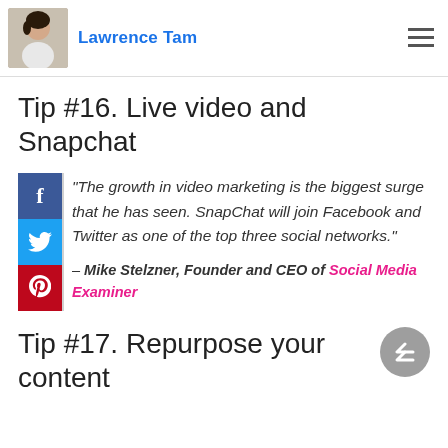Lawrence Tam
Tip #16. Live video and Snapchat
“The growth in video marketing is the biggest surge that he has seen. SnapChat will join Facebook and Twitter as one of the top three social networks.” – Mike Stelzner, Founder and CEO of Social Media Examiner
Tip #17. Repurpose your content